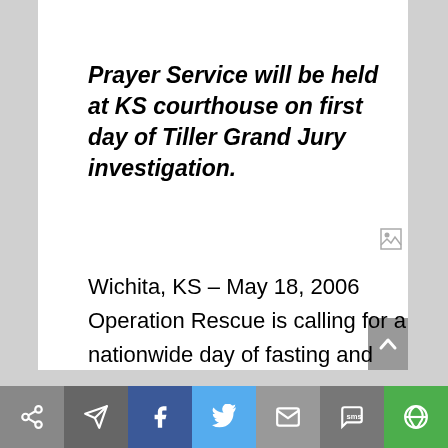Prayer Service will be held at KS courthouse on first day of Tiller Grand Jury investigation.
Wichita, KS – May 18, 2006 Operation Rescue is calling for a nationwide day of fasting and prayer on Monday, May 22, 2006, the day a Sedgwick County Grand Jury will convene to begin an investigation for initially allegations